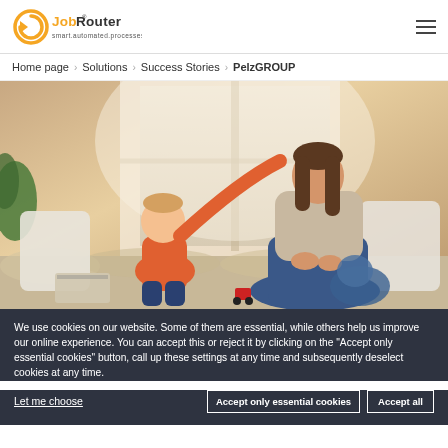JobRouter — smart.automated.processes
Home page > Solutions > Success Stories > PelzGROUP
[Figure (photo): A woman and a toddler sitting on a window seat with a furry cushion. The toddler in red is reaching up to touch the woman's face. Warm indoor natural light.]
We use cookies on our website. Some of them are essential, while others help us improve our online experience. You can accept this or reject it by clicking on the "Accept only essential cookies" button, call up these settings at any time and subsequently deselect cookies at any time.
Let me choose | Accept only essential cookies | Accept all